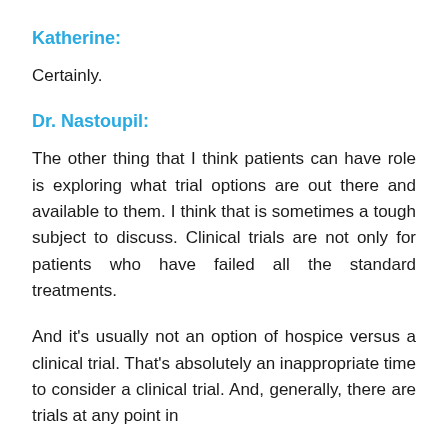Katherine:
Certainly.
Dr. Nastoupil:
The other thing that I think patients can have role is exploring what trial options are out there and available to them. I think that is sometimes a tough subject to discuss. Clinical trials are not only for patients who have failed all the standard treatments.
And it’s usually not an option of hospice versus a clinical trial. That’s absolutely an inappropriate time to consider a clinical trial. And, generally, there are trials at any point in